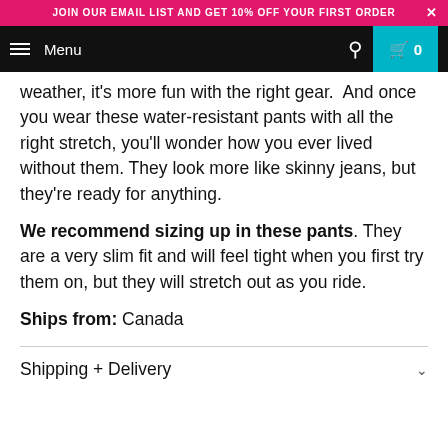JOIN OUR EMAIL LIST AND GET 10% OFF YOUR FIRST ORDER  ×
Menu  🔍  🛒 0
weather, it's more fun with the right gear.  And once you wear these water-resistant pants with all the right stretch, you'll wonder how you ever lived without them. They look more like skinny jeans, but they're ready for anything.

We recommend sizing up in these pants. They are a very slim fit and will feel tight when you first try them on, but they will stretch out as you ride.
Ships from: Canada
Shipping + Delivery